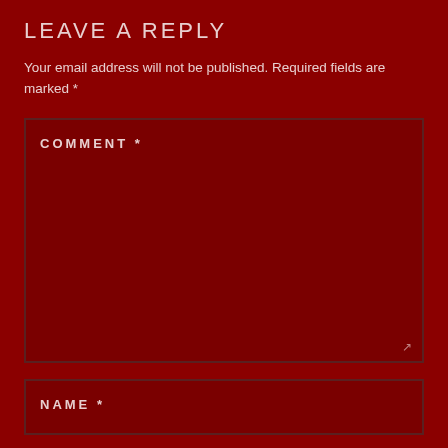LEAVE A REPLY
Your email address will not be published. Required fields are marked *
COMMENT *
NAME *